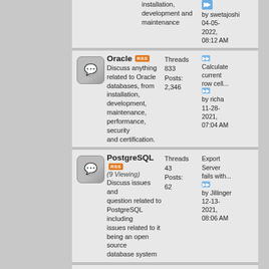installation, development and maintenance
by swetajoshi 04-05-2022, 08:12 AM
Oracle - RSS - Threads: 833, Posts: 2,346 - Discuss anything related to Oracle databases, from installation, development, maintenance, performance, security and certification. - Calculate current row cell... - by richa 11-28-2021, 07:04 AM
PostgreSQL - RSS - (9 Viewing) - Threads: 43, Posts: 62 - Discuss issues and question related PostgreSQL including issues related to it being an open source database system - Export Server fails with... - by Jillinger 12-13-2021, 08:06 AM
Sybase - RSS - (12 Viewing) - Threads: 155, Posts: 209 - Discuss Sybase products including Adaptive Server Enterprise, Open Server, Replication... - Compare two tables from... - by pvlsmp18 12-14-2021